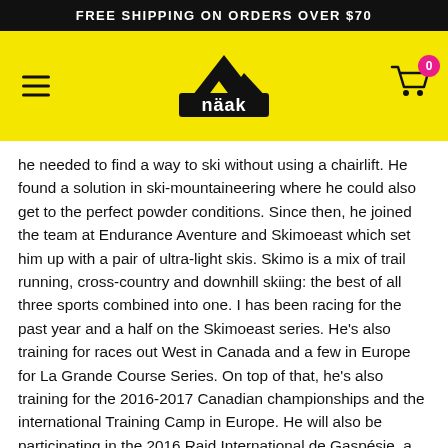FREE SHIPPING ON ORDERS OVER $70
[Figure (logo): Näak brand logo on yellow background with hamburger menu and shopping cart icon]
he needed to find a way to ski without using a chairlift. He found a solution in ski-mountaineering where he could also get to the perfect powder conditions. Since then, he joined the team at Endurance Aventure and Skimoeast which set him up with a pair of ultra-light skis. Skimo is a mix of trail running, cross-country and downhill skiing: the best of all three sports combined into one. I has been racing for the past year and a half on the Skimoeast series. He's also training for races out West in Canada and a few in Europe for La Grande Course Series. On top of that, he's also training for the 2016-2017 Canadian championships and the international Training Camp in Europe. He will also be participating in the 2016 Raid International de Gaspésie, a 300 km race. He recently won the 12-hour adventure race GMARA Bitter Pill after he placed second at the Fright Flite 18-hour Raid this past winter, which